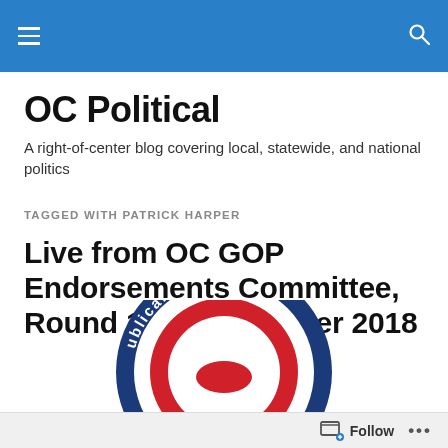OC Political site navigation header with hamburger menu and search icon
OC Political
A right-of-center blog covering local, statewide, and national politics
TAGGED WITH PATRICK HARPER
Live from OC GOP Endorsements Committee, Round 1 for November 2018
[Figure (logo): Partial Republican Party circular logo badge in red, white, and blue showing text 'ublican Pa']
Follow ...